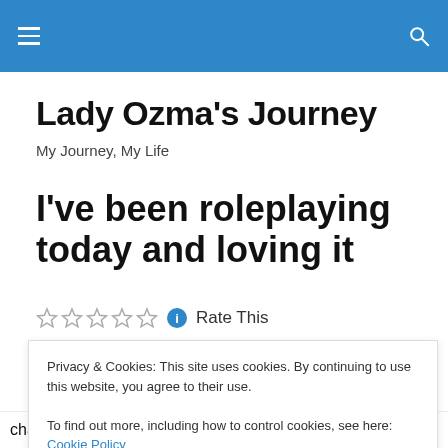Lady Ozma's Journey
Lady Ozma's Journey
My Journey, My Life
I've been roleplaying today and loving it
Rate This
Privacy & Cookies: This site uses cookies. By continuing to use this website, you agree to their use.
To find out more, including how to control cookies, see here: Cookie Policy
character is Paige from Charmed. My friend there is Piper.